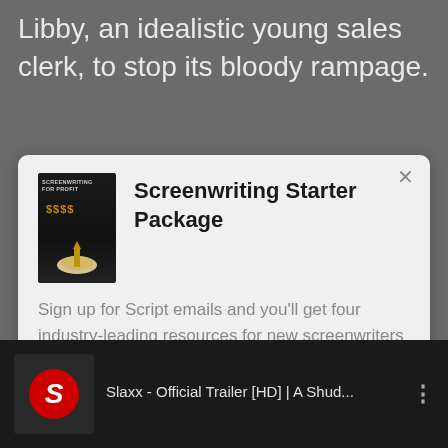Libby, an idealistic young sales clerk, to stop its bloody rampage.
[Figure (screenshot): Modal dialog box for Screenwriting Starter Package with book cover image and close button]
Screenwriting Starter Package
Sign up for Script emails and you'll get four industry-leading resources for new screenwriters absolutely free! ($120 value) Learn the fundamentals of the craft, from outline to production.
[Figure (screenshot): YouTube video thumbnail showing Slaxx - Official Trailer [HD] | A Shud... with red S logo and menu icon]